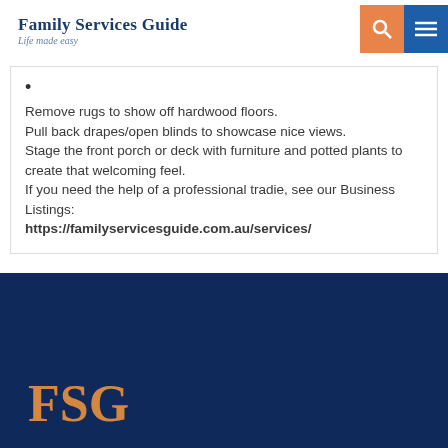Family Services Guide — Life made easy
•
Remove rugs to show off hardwood floors.
Pull back drapes/open blinds to showcase nice views.
Stage the front porch or deck with furniture and potted plants to create that welcoming feel.
If you need the help of a professional tradie, see our Business Listings:
https://familyservicesguide.com.au/services/
FSG